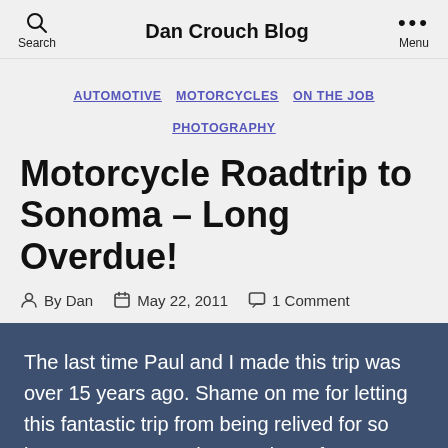Dan Crouch Blog
AUTOMOTIVE  MOTORCYCLES  ON THE JOB  PHOTOGRAPHY
Motorcycle Roadtrip to Sonoma – Long Overdue!
By Dan  May 22, 2011  1 Comment
The last time Paul and I made this trip was over 15 years ago. Shame on me for letting this fantastic trip from being relived for so long. But we more than made up for